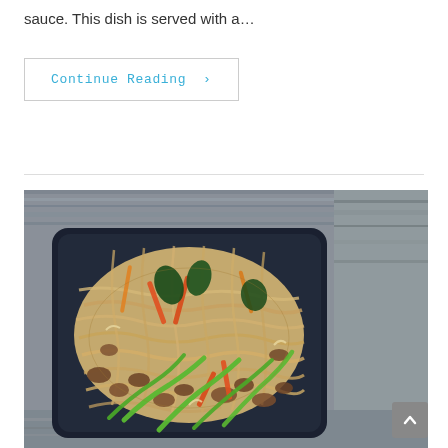sauce. This dish is served with a…
Continue Reading ›
[Figure (photo): Overhead photo of a takeout container filled with stir-fried noodles, ground meat, vegetables including green onions, carrots, red peppers, and dark leafy greens, placed on a gray wooden surface.]